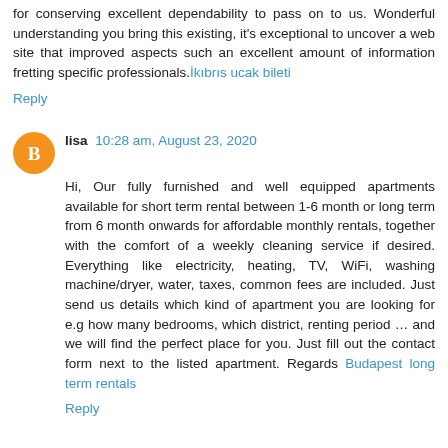for conserving excellent dependability to pass on to us. Wonderful understanding you bring this existing, it's exceptional to uncover a web site that improved aspects such an excellent amount of information fretting specific professionals.İkıbrıs ucak bileti
Reply
lisa  10:28 am, August 23, 2020
Hi, Our fully furnished and well equipped apartments available for short term rental between 1-6 month or long term from 6 month onwards for affordable monthly rentals, together with the comfort of a weekly cleaning service if desired. Everything like electricity, heating, TV, WiFi, washing machine/dryer, water, taxes, common fees are included. Just send us details which kind of apartment you are looking for e.g how many bedrooms, which district, renting period … and we will find the perfect place for you. Just fill out the contact form next to the listed apartment. Regards Budapest long term rentals
Reply